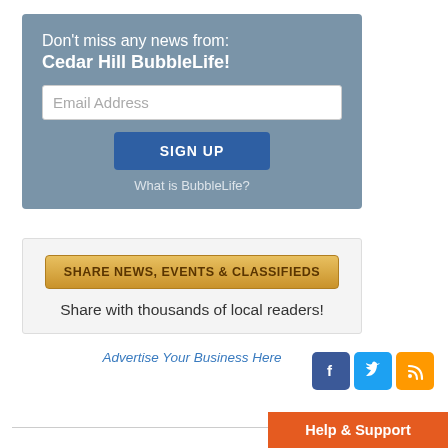Don't miss any news from: Cedar Hill BubbleLife!
Email Address
SIGN UP
What is BubbleLife?
SHARE NEWS, EVENTS & CLASSIFIEDS
Share with thousands of local readers!
Advertise Your Business Here
[Figure (infographic): Facebook, Twitter, and RSS social media icons]
Help & Support